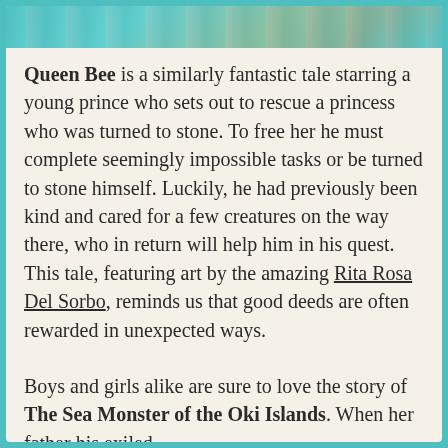[Figure (illustration): Colorful illustrated book cover strip at the top showing a character in a teal/aqua scene]
Queen Bee is a similarly fantastic tale starring a young prince who sets out to rescue a princess who was turned to stone. To free her he must complete seemingly impossible tasks or be turned to stone himself. Luckily, he had previously been kind and cared for a few creatures on the way there, who in return will help him in his quest. This tale, featuring art by the amazing Rita Rosa Del Sorbo, reminds us that good deeds are often rewarded in unexpected ways.
Boys and girls alike are sure to love the story of The Sea Monster of the Oki Islands. When her father his exiled,